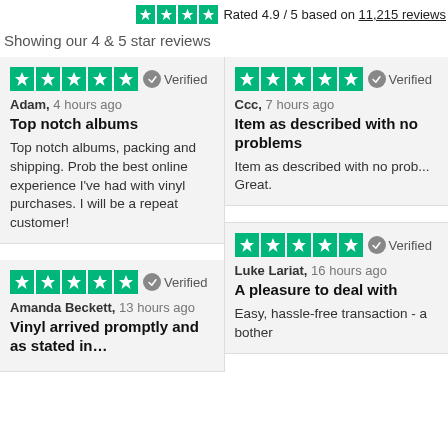Rated 4.9 / 5 based on 11,215 reviews
Showing our 4 & 5 star reviews
Adam, 4 hours ago
Top notch albums
Top notch albums, packing and shipping. Prob the best online experience I've had with vinyl purchases. I will be a repeat customer!
Ccc, 7 hours ago
Item as described with no problems
Item as described with no prob... Great.
Amanda Beckett, 13 hours ago
Vinyl arrived promptly and as stated in...
Luke Lariat, 16 hours ago
A pleasure to deal with
Easy, hassle-free transaction - a bother